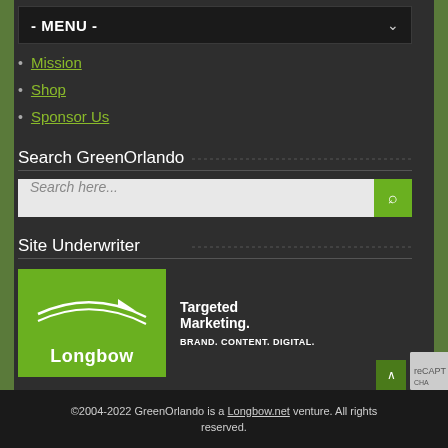- MENU -
Mission
Shop
Sponsor Us
Search GreenOrlando
Search here...
Site Underwriter
[Figure (logo): Longbow logo on green background with swoosh graphic — Targeted Marketing. BRAND. CONTENT. DIGITAL.]
©2004-2022 GreenOrlando is a Longbow.net venture. All rights reserved.